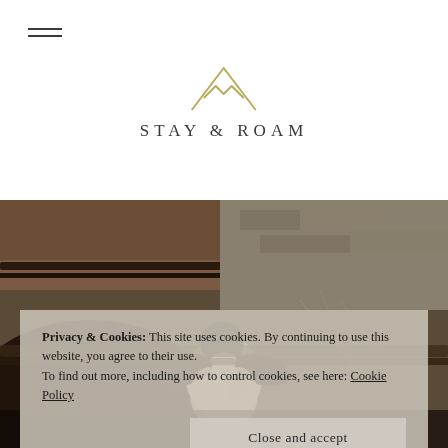Stay & Roam — navigation and logo header
[Figure (logo): Stay & Roam logo: olive/yellow-green geometric house/mountain outline icon above the text 'STAY & ROAM' in spaced serif capitals]
[Figure (photo): Close-up photograph of a small bird (swallow or swift) nestled between rusty metal rails or roof tiles, with stone or concrete background visible. The bird has white fluffy chest/belly feathers and dark head.]
Privacy & Cookies: This site uses cookies. By continuing to use this website, you agree to their use.
To find out more, including how to control cookies, see here: Cookie Policy
Close and accept